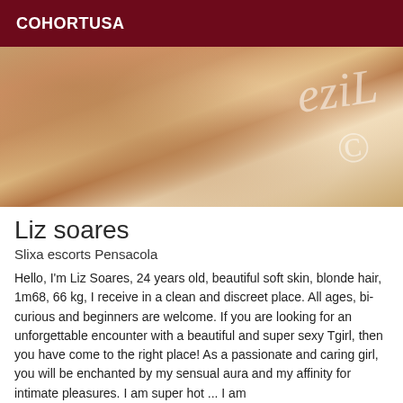COHORTUSA
[Figure (photo): Close-up photo of a person lying on white bedding, skin visible, with a watermark text overlay on the right side]
Liz soares
Slixa escorts Pensacola
Hello, I'm Liz Soares, 24 years old, beautiful soft skin, blonde hair, 1m68, 66 kg, I receive in a clean and discreet place. All ages, bi-curious and beginners are welcome. If you are looking for an unforgettable encounter with a beautiful and super sexy Tgirl, then you have come to the right place! As a passionate and caring girl, you will be enchanted by my sensual aura and my affinity for intimate pleasures. I am super hot ... I am